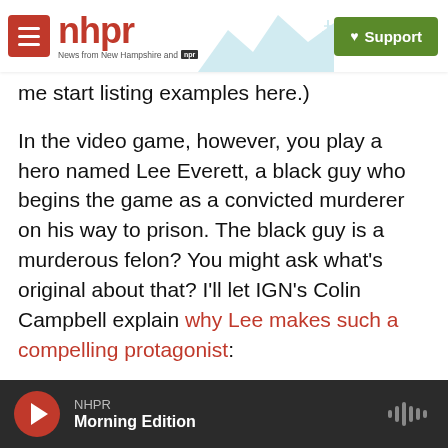nhpr - News from New Hampshire and NPR | Support
me start listing examples here.)
In the video game, however, you play a hero named Lee Everett, a black guy who begins the game as a convicted murderer on his way to prison. The black guy is a murderous felon? You might ask what's original about that? I'll let IGN's Colin Campbell explain why Lee makes such a compelling protagonist:
He is a criminal (convicted of murder, possibly a crime of passion) which puts him in diametrical opposition to The Walking Dead's main character Rick Gri...
NHPR | Morning Edition